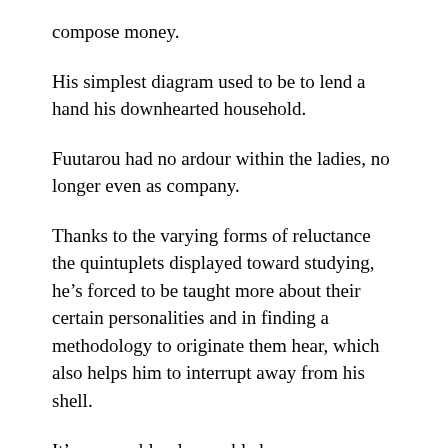compose money.
His simplest diagram used to be to lend a hand his downhearted household.
Fuutarou had no ardour within the ladies, no longer even as company.
Thanks to the varying forms of reluctance the quintuplets displayed toward studying, he’s forced to be taught more about their certain personalities and in finding a methodology to originate them hear, which also helps him to interrupt away from his shell.
It’s reasonably pleasurable how straightforward it becomes to title which lady is which, no topic their physical similarities.
The Quintessential Quintuplets fleshes them out